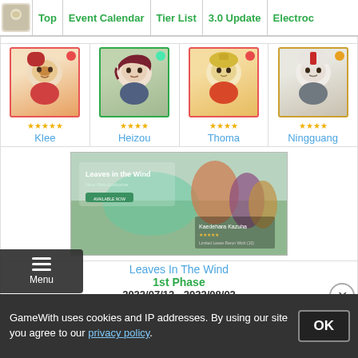Top | Event Calendar | Tier List | 3.0 Update | Electro...
[Figure (screenshot): Character grid showing Klee (5-star Pyro), Heizou (4-star Anemo), Thoma (4-star Pyro), Ningguang (4-star Geo) with character portraits and star ratings]
[Figure (screenshot): Event banner image for 'Leaves In The Wind' showing characters including Kazuha]
Leaves In The Wind
1st Phase
2022/07/13 - 2022/08/02
[Figure (screenshot): Second character row showing Kazuha (5-star Anemo), Heizou (4-star Anemo), and two partially visible characters with a black overlay]
Kazuha
Heizou
GameWith uses cookies and IP addresses. By using our site you agree to our privacy policy.